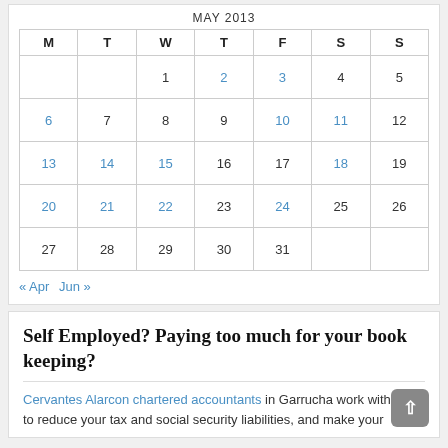MAY 2013
| M | T | W | T | F | S | S |
| --- | --- | --- | --- | --- | --- | --- |
|  |  | 1 | 2 | 3 | 4 | 5 |
| 6 | 7 | 8 | 9 | 10 | 11 | 12 |
| 13 | 14 | 15 | 16 | 17 | 18 | 19 |
| 20 | 21 | 22 | 23 | 24 | 25 | 26 |
| 27 | 28 | 29 | 30 | 31 |  |  |
« Apr   Jun »
Self Employed? Paying too much for your book keeping?
Cervantes Alarcon chartered accountants in Garrucha work with you to reduce your tax and social security liabilities, and make your